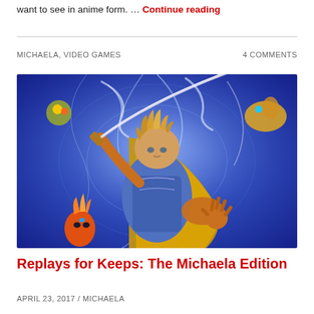want to see in anime form. … Continue reading
MICHAELA, VIDEO GAMES
4 COMMENTS
[Figure (illustration): Anime-style illustration of a young male warrior with spiky blonde hair holding a sword, wearing brown and blue armor with a golden cape, reaching forward with one hand. Background shows swirling blue energy and fantasy creatures.]
Replays for Keeps: The Michaela Edition
APRIL 23, 2017 / MICHAELA